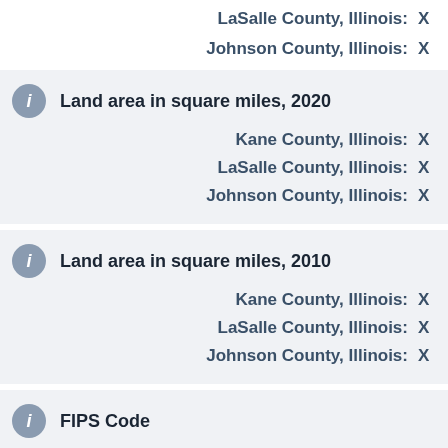LaSalle County, Illinois: X
Johnson County, Illinois: X
Land area in square miles, 2020
Kane County, Illinois: X
LaSalle County, Illinois: X
Johnson County, Illinois: X
Land area in square miles, 2010
Kane County, Illinois: X
LaSalle County, Illinois: X
Johnson County, Illinois: X
FIPS Code
Kane County, Illinois: X
LaSalle County, Illinois:
Johnson County, Illinois: